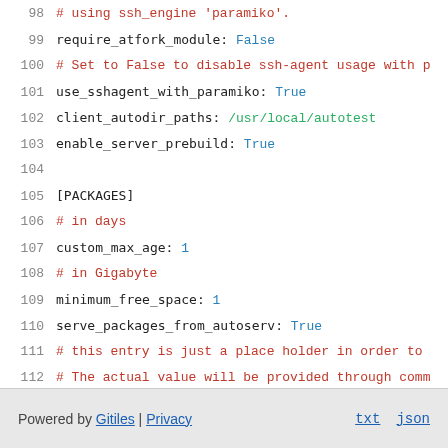98  # using ssh_engine 'paramiko'.
99  require_atfork_module: False
100 # Set to False to disable ssh-agent usage with p
101 use_sshagent_with_paramiko: True
102 client_autodir_paths: /usr/local/autotest
103 enable_server_prebuild: True
104
105 [PACKAGES]
106 # in days
107 custom_max_age: 1
108 # in Gigabyte
109 minimum_free_space: 1
110 serve_packages_from_autoserv: True
111 # this entry is just a place holder in order to
112 # The actual value will be provided through comm
113 # from inside chromeos-base/autotest ebuild fil
114 upload_location: UNUSED
Powered by Gitiles | Privacy    txt  json